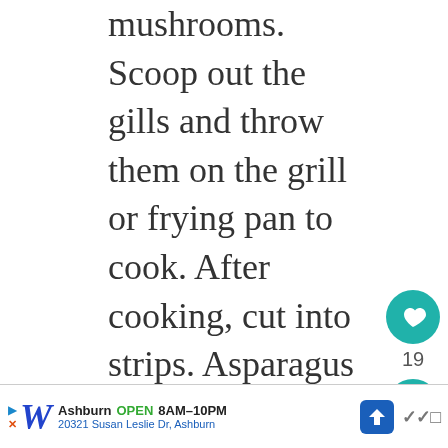mushrooms. Scoop out the gills and throw them on the grill or frying pan to cook. After cooking, cut into strips. Asparagus can be steamed, blanched, grilled or roasted….just briefly though, you want the asparagus cook a bit, still crisp. If you cook too long, the asparagus turn soggy, chewy and stringy.
Here are some ideas: carrot, red onions, roasted bell peppers, ar... zucchini, grilled portabella, green b...
WHAT'S NEXT → Spicy Shrimp Skewers
Ashburn OPEN 8AM–10PM 20321 Susan Leslie Dr, Ashburn